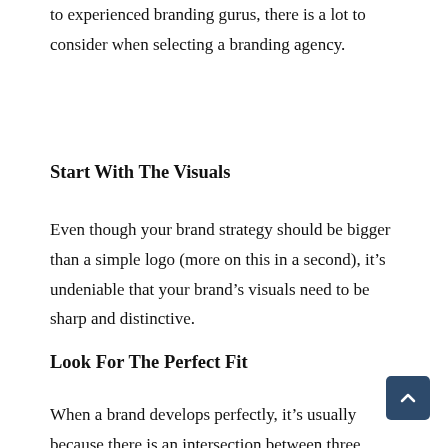to experienced branding gurus, there is a lot to consider when selecting a branding agency.
Start With The Visuals
Even though your brand strategy should be bigger than a simple logo (more on this in a second), it’s undeniable that your brand’s visuals need to be sharp and distinctive.
Look For The Perfect Fit
When a brand develops perfectly, it’s usually because there is an intersection between three important elements: the